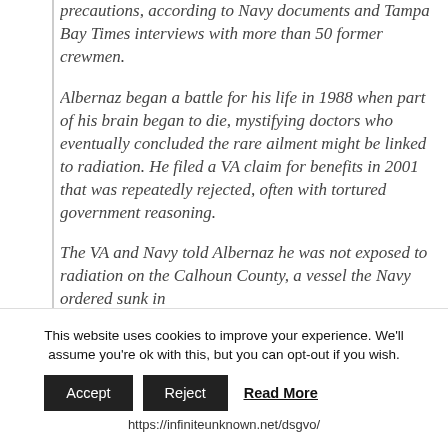precautions, according to Navy documents and Tampa Bay Times interviews with more than 50 former crewmen.
Albernaz began a battle for his life in 1988 when part of his brain began to die, mystifying doctors who eventually concluded the rare ailment might be linked to radiation. He filed a VA claim for benefits in 2001 that was repeatedly rejected, often with tortured government reasoning.
The VA and Navy told Albernaz he was not exposed to radiation on the Calhoun County, a vessel the Navy ordered sunk in
This website uses cookies to improve your experience. We'll assume you're ok with this, but you can opt-out if you wish.
https://infiniteunknown.net/dsgvo/